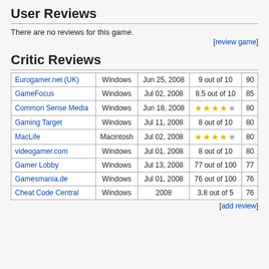User Reviews
There are no reviews for this game.
[review game]
Critic Reviews
| Source | Platform | Date | Score |  |
| --- | --- | --- | --- | --- |
| Eurogamer.net (UK) | Windows | Jun 25, 2008 | 9 out of 10 | 90 |
| GameFocus | Windows | Jul 02, 2008 | 8.5 out of 10 | 85 |
| Common Sense Media | Windows | Jun 18, 2008 | ★★★★☆ | 80 |
| Gaming Target | Windows | Jul 11, 2008 | 8 out of 10 | 80 |
| MacLife | Macintosh | Jul 02, 2008 | ★★★★☆ | 80 |
| videogamer.com | Windows | Jul 01, 2008 | 8 out of 10 | 80 |
| Gamer Lobby | Windows | Jul 13, 2008 | 77 out of 100 | 77 |
| Gamesmania.de | Windows | Jul 01, 2008 | 76 out of 100 | 76 |
| Cheat Code Central | Windows | 2008 | 3.8 out of 5 | 76 |
[add review]